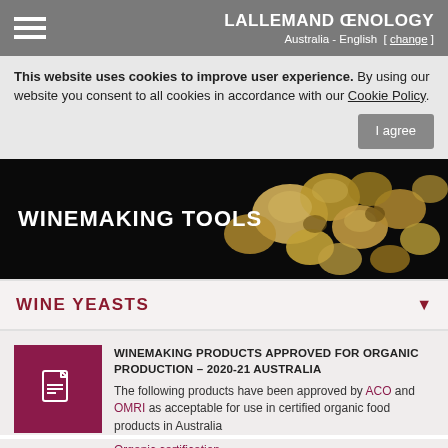LALLEMAND ŒNOLOGY — Australia - English [change]
This website uses cookies to improve user experience. By using our website you consent to all cookies in accordance with our Cookie Policy.
[Figure (screenshot): Hero banner image showing yeast cells under microscope with text WINEMAKING TOOLS on black background]
WINE YEASTS
WINEMAKING PRODUCTS APPROVED FOR ORGANIC PRODUCTION – 2020-21 AUSTRALIA
The following products have been approved by ACO and OMRI as acceptable for use in certified organic food products in Australia
Organic certification